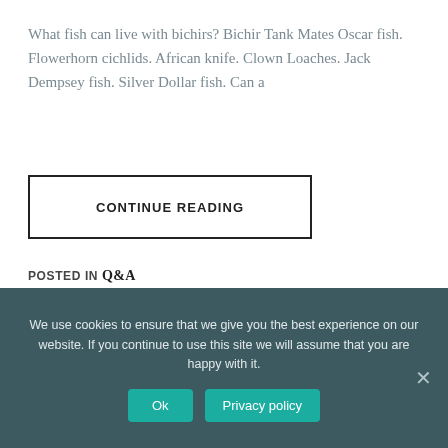What fish can live with bichirs? Bichir Tank Mates Oscar fish. Flowerhorn cichlids. African knife. Clown Loaches. Jack Dempsey fish. Silver Dollar fish. Can a
CONTINUE READING
POSTED IN Q&A
We use cookies to ensure that we give you the best experience on our website. If you continue to use this site we will assume that you are happy with it.
Ok
Privacy policy